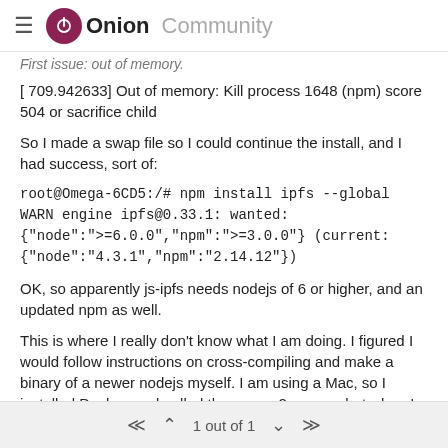Onion Community
First issue: out of memory.
[ 709.942633] Out of memory: Kill process 1648 (npm) score 504 or sacrifice child
So I made a swap file so I could continue the install, and I had success, sort of:
root@Omega-6CD5:/# npm install ipfs --global
WARN engine ipfs@0.33.1: wanted:
{"node":">= 6.0.0","npm":">= 3.0.0"} (current:
{"node":"4.3.1","npm":"2.14.12"})
OK, so apparently js-ipfs needs nodejs of 6 or higher, and an updated npm as well.
This is where I really don't know what I am doing. I figured I would follow instructions on cross-compiling and make a binary of a newer nodejs myself. I am using a Mac, so I installed Docker, and pulled the omega2-source, but when I ran "make" I got this:
make -r world: build failed  Please re-run make with -i1 V=s to see
1 out of 1